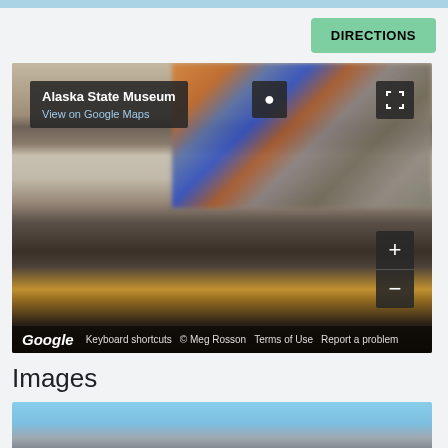[Figure (screenshot): Top light blue banner bar]
[Figure (screenshot): DIRECTIONS button (green/teal) in top right area]
[Figure (map): Google Street View embedded map showing Alaska State Museum. Overlay shows label 'Alaska State Museum' with pin icon and 'View on Google Maps' link. Top right has fullscreen icon. Bottom right has zoom + and - buttons. Bottom bar shows Google branding, 'Keyboard shortcuts', '© Meg Rosson', 'Terms of Use', 'Report a problem'.]
Images
[Figure (photo): Partial photo of building exterior with blue sky, bottom of page]